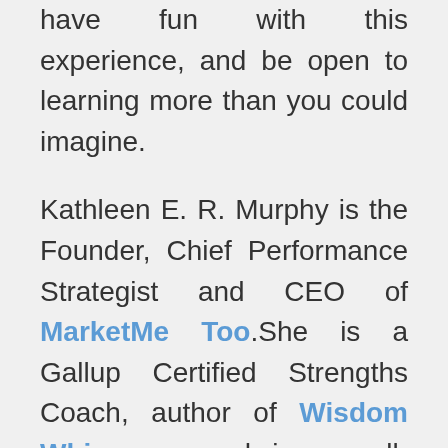have fun with this experience, and be open to learning more than you could imagine.
Kathleen E. R. Murphy is the Founder, Chief Performance Strategist and CEO of MarketMe Too. She is a Gallup Certified Strengths Coach, author of Wisdom Whisperer, and is a well-respected motivational and social influencer who has a global following from her numerous speaking, print, radio and television media appearances.
Our expertise is in uniting, motivating and bridging teams (sports & business). What